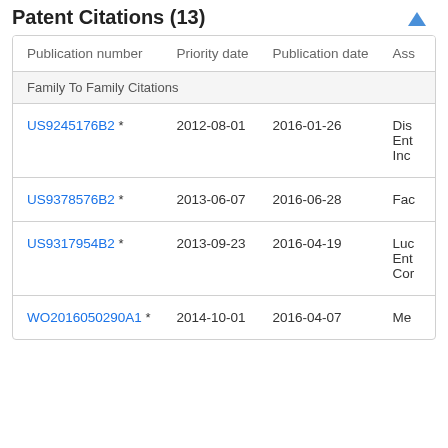Patent Citations (13)
| Publication number | Priority date | Publication date | Ass |
| --- | --- | --- | --- |
| Family To Family Citations |  |  |  |
| US9245176B2 * | 2012-08-01 | 2016-01-26 | Dis Ent Inc |
| US9378576B2 * | 2013-06-07 | 2016-06-28 | Fac |
| US9317954B2 * | 2013-09-23 | 2016-04-19 | Luc Ent Cor |
| WO2016050290A1 * | 2014-10-01 | 2016-04-07 | Me |